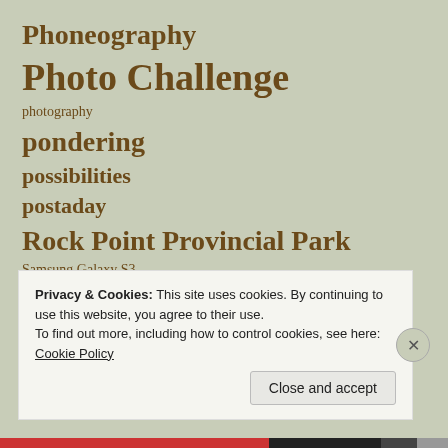Phoneography
Photo Challenge
photography
pondering
possibilities
postaday
Rock Point Provincial Park
Samsung Galaxy S3
seasons
spring
T...
Privacy & Cookies: This site uses cookies. By continuing to use this website, you agree to their use.
To find out more, including how to control cookies, see here: Cookie Policy
Close and accept